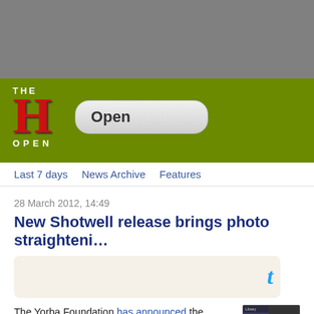[Figure (screenshot): The H Open website header with large red H logo on olive green background and search box labeled 'Open']
Last 7 days  News Archive  Features
28 March 2012, 14:49
New Shotwell release brings photo straighteni…
[Figure (screenshot): Tweet button area, light beige rounded box with Twitter bird icon]
The Yorba Foundation has announced the release of the newest version of its Shotwell photo organiser. Shotwell 0.12.0 adds the ability to straighten photos, support for GTK+ 3, the ability
[Figure (screenshot): Shotwell application screenshot showing sidebar with Library, Last Import, Events, Trash, Print Media options and photo thumbnails]